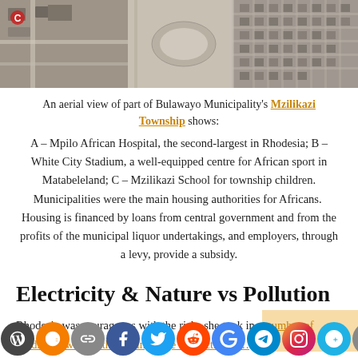[Figure (photo): Aerial black-and-white photograph of part of Bulawayo Municipality's Mzilikazi Township showing buildings, roads, and open areas from above.]
An aerial view of part of Bulawayo Municipality's Mzilikazi Township shows:
A – Mpilo African Hospital, the second-largest in Rhodesia; B – White City Stadium, a well-equipped centre for African sport in Matabeleland; C – Mzilikazi School for township children. Municipalities were the main housing authorities for Africans. Housing is financed by loans from central government and from the profits of the municipal liquor undertakings, and employers, through a levy, provide a subsidy.
Electricity & Nature vs Pollution
Rhodesia was courageous with the risks she took in a number of fields. We were at the cutting edge of electricity…